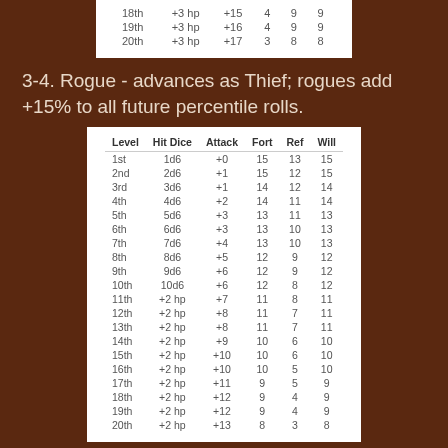| 18th | +3 hp | +15 | 4 | 9 | 9 |
| 19th | +3 hp | +16 | 4 | 9 | 9 |
| 20th | +3 hp | +17 | 3 | 8 | 8 |
3-4. Rogue - advances as Thief; rogues add +15% to all future percentile rolls.
| Level | Hit Dice | Attack | Fort | Ref | Will |
| --- | --- | --- | --- | --- | --- |
| 1st | 1d6 | +0 | 15 | 13 | 15 |
| 2nd | 2d6 | +1 | 15 | 12 | 15 |
| 3rd | 3d6 | +1 | 14 | 12 | 14 |
| 4th | 4d6 | +2 | 14 | 11 | 14 |
| 5th | 5d6 | +3 | 13 | 11 | 13 |
| 6th | 6d6 | +3 | 13 | 10 | 13 |
| 7th | 7d6 | +4 | 13 | 10 | 13 |
| 8th | 8d6 | +5 | 12 | 9 | 12 |
| 9th | 9d6 | +6 | 12 | 9 | 12 |
| 10th | 10d6 | +6 | 12 | 8 | 12 |
| 11th | +2 hp | +7 | 11 | 8 | 11 |
| 12th | +2 hp | +8 | 11 | 7 | 11 |
| 13th | +2 hp | +8 | 11 | 7 | 11 |
| 14th | +2 hp | +9 | 10 | 6 | 10 |
| 15th | +2 hp | +10 | 10 | 6 | 10 |
| 16th | +2 hp | +10 | 10 | 5 | 10 |
| 17th | +2 hp | +11 | 9 | 5 | 9 |
| 18th | +2 hp | +12 | 9 | 4 | 9 |
| 19th | +2 hp | +12 | 9 | 4 | 9 |
| 20th | +2 hp | +13 | 8 | 3 | 8 |
5-6. Scholar - advances as Magic-User; scholars add +30% to all future percentile rolls.